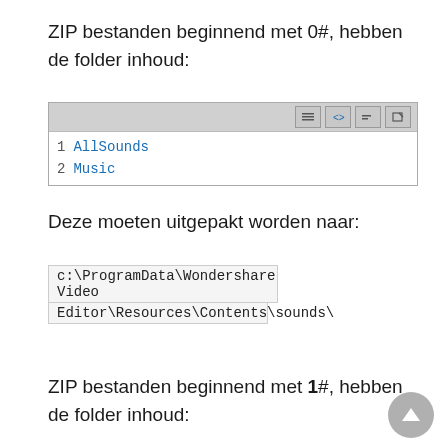ZIP bestanden beginnend met 0#, hebben de folder inhoud:
[Figure (screenshot): Code editor screenshot showing two lines: 1 AllSounds, 2 Music]
Deze moeten uitgepakt worden naar:
c:\ProgramData\Wondershare Video Editor\Resources\Contents\sounds\
ZIP bestanden beginnend met 1#, hebben de folder inhoud: